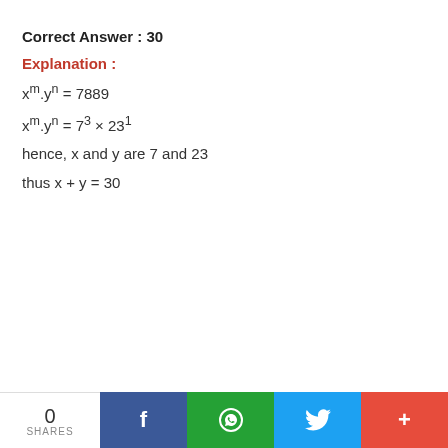Correct Answer : 30
Explanation :
hence, x and y are 7 and 23
thus x + y = 30
0 SHARES | Facebook | WhatsApp | Twitter | More